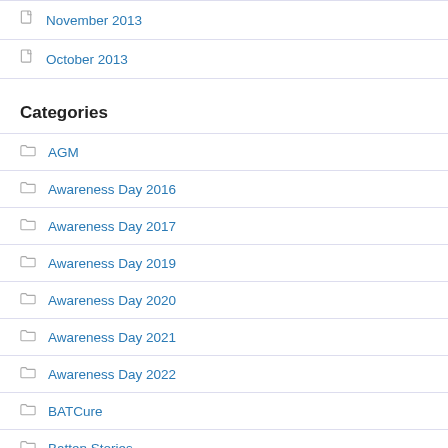November 2013
October 2013
Categories
AGM
Awareness Day 2016
Awareness Day 2017
Awareness Day 2019
Awareness Day 2020
Awareness Day 2021
Awareness Day 2022
BATCure
Batten Stories